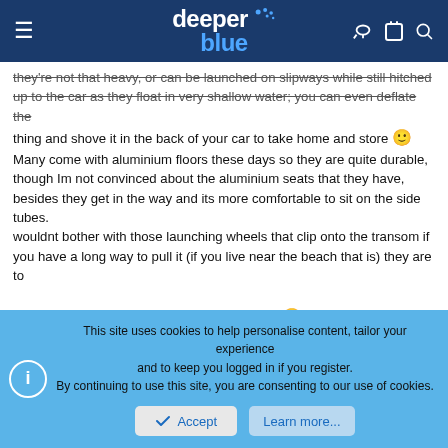deeper blue (website header with hamburger menu, logo, and icons)
they're not that heavy, or can be launched on slipways while still hitched up to the car as they float in very shallow water; you can even deflate the thing and shove it in the back of your car to take home and store 🙂 Many come with aluminium floors these days so they are quite durable, though Im not convinced about the aluminium seats that they have, besides they get in the way and its more comfortable to sit on the side tubes.
wouldnt bother with those launching wheels that clip onto the transom if you have a long way to pull it (if you live near the beach that is) they are to far back and make the boat really heavy to lift 😐 a cheap launching trolly is better
Pastor
This site uses cookies to help personalise content, tailor your experience and to keep you logged in if you register.
By continuing to use this site, you are consenting to our use of cookies.